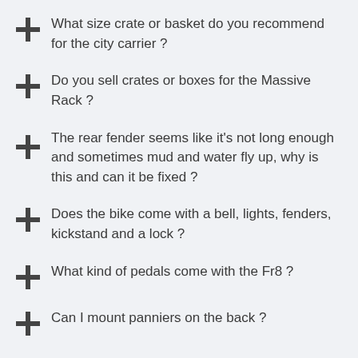What size crate or basket do you recommend for the city carrier ?
Do you sell crates or boxes for the Massive Rack ?
The rear fender seems like it's not long enough and sometimes mud and water fly up, why is this and can it be fixed ?
Does the bike come with a bell, lights, fenders, kickstand and a lock ?
What kind of pedals come with the Fr8 ?
Can I mount panniers on the back ?